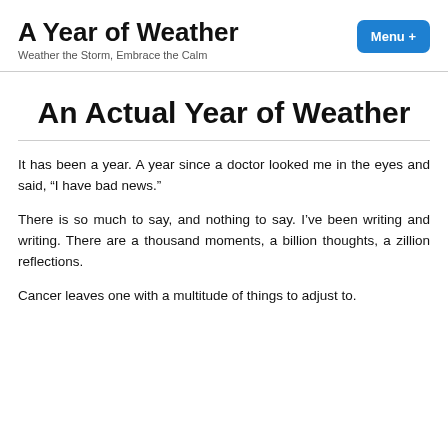A Year of Weather
Weather the Storm, Embrace the Calm
An Actual Year of Weather
It has been a year. A year since a doctor looked me in the eyes and said, “I have bad news.”
There is so much to say, and nothing to say. I’ve been writing and writing. There are a thousand moments, a billion thoughts, a zillion reflections.
Cancer leaves one with a multitude of things to adjust to.